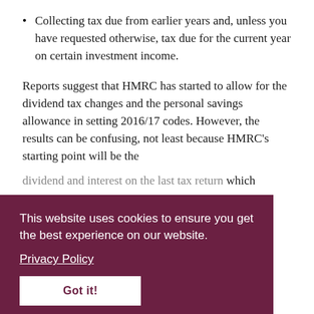Collecting tax due from earlier years and, unless you have requested otherwise, tax due for the current year on certain investment income.
Reports suggest that HMRC has started to allow for the dividend tax changes and the personal savings allowance in setting 2016/17 codes. However, the results can be confusing, not least because HMRC's starting point will be the dividend and interest on the last tax return which filed (generally the 2014/15 return (2013/15)).
For example, you are a higher rate taxpayer who had £7,000 of dividend income in 2014/15, HMRC will make the following calculation:
Dividends    £7,000
Dividend allowance    £5,000
[Figure (screenshot): Cookie consent banner overlay on top of main article content. The banner has a dark maroon/purple background with white text reading 'This website uses cookies to ensure you get the best experience on our website.' with a 'Privacy Policy' link and a 'Got it!' button.]